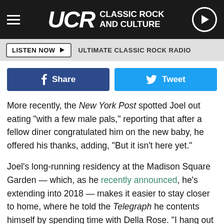UCR CLASSIC ROCK AND CULTURE
LISTEN NOW  ULTIMATE CLASSIC ROCK RADIO
[Figure (other): Facebook Share button and Twitter Tweet button]
More recently, the New York Post spotted Joel out eating "with a few male pals," reporting that after a fellow diner congratulated him on the new baby, he offered his thanks, adding, "But it isn't here yet."
Joel's long-running residency at the Madison Square Garden — which, as he recently announced, he's extending into 2018 — makes it easier to stay closer to home, where he told the Telegraph he contents himself by spending time with Della Rose. "I hang out with her and watch her little wheels spin," he told the paper. "And she's a hoot. She's a funny kid. She